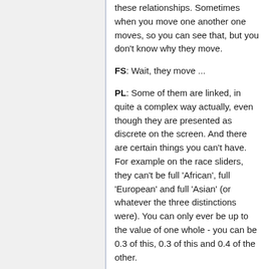these relationships. Sometimes when you move one another one moves, so you can see that, but you don't know why they move.
FS: Wait, they move ...
PL: Some of them are linked, in quite a complex way actually, even though they are presented as discrete on the screen. And there are certain things you can't have. For example on the race sliders, they can't be full 'African', full 'European' and full 'Asian' (or whatever the three distinctions were). You can only ever be up to the value of one whole - you can be 0.3 of this, 0.3 of this and 0.4 of the other.
FS: You cannot be mixed between more than two?
PL: No. I can sort of see how they get to